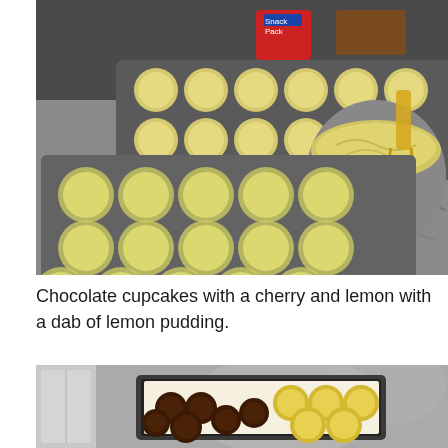[Figure (photo): Kitchen counter with two muffin tins filled with cupcake batter in paper liners, and a large stainless steel mixing bowl with yellow batter and a hand mixer. Various food packaging visible in background on a granite countertop.]
Chocolate cupcakes with a cherry and lemon with a dab of lemon pudding.
[Figure (photo): Kitchen counter with a baking tray holding finished cupcakes — dark chocolate cupcakes on the left and yellow lemon cupcakes on the right, with a refrigerator partially visible on the left.]